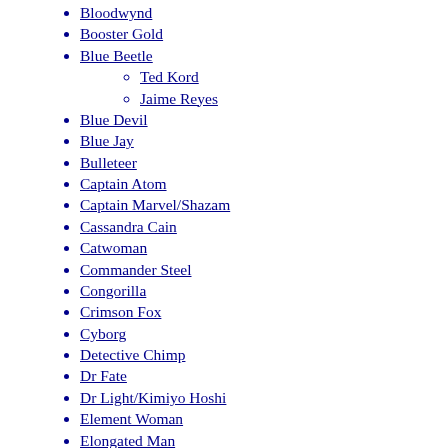Bloodwynd
Booster Gold
Blue Beetle
Ted Kord
Jaime Reyes
Blue Devil
Blue Jay
Bulleteer
Captain Atom
Captain Marvel/Shazam
Cassandra Cain
Catwoman
Commander Steel
Congorilla
Crimson Fox
Cyborg
Detective Chimp
Dr Fate
Dr Light/Kimiyo Hoshi
Element Woman
Elongated Man
Etrigan
Fire
Firestorm
Flash